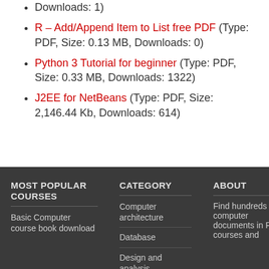Downloads: 1)
R – Add/Append Item to List free PDF (Type: PDF, Size: 0.13 MB, Downloads: 0)
Python 3 Tutorial for beginner (Type: PDF, Size: 0.33 MB, Downloads: 1322)
J2EE for NetBeans (Type: PDF, Size: 2,146.44 Kb, Downloads: 614)
MOST POPULAR COURSES
CATEGORY
ABOUT
Basic Computer course book download
Computer architecture
Database
Design and analysis
Find hundreds of computer documents in PDF, courses and